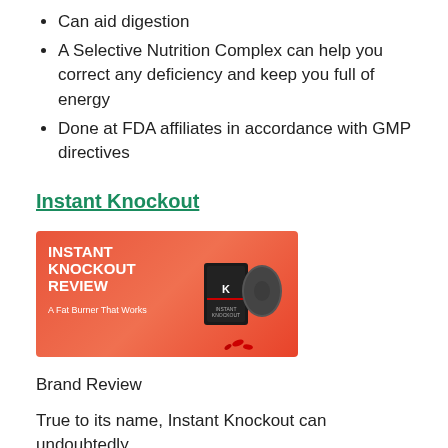Can aid digestion
A Selective Nutrition Complex can help you correct any deficiency and keep you full of energy
Done at FDA affiliates in accordance with GMP directives
Instant Knockout
[Figure (photo): Instant Knockout Review promotional banner image with orange-red gradient background, bold white text reading 'INSTANT KNOCKOUT REVIEW', subtitle 'A Fat Burner That Works', and product bottle/container image on the right side.]
Brand Review
True to its name, Instant Knockout can undoubtedly